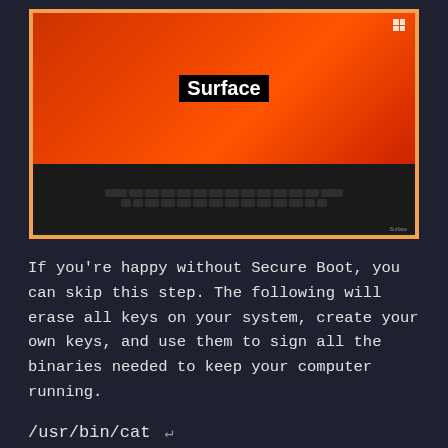[Figure (photo): A Microsoft Surface tablet with keyboard showing an orange/red boot screen with the word 'Surface' displayed. The device has a physical keyboard attached at the bottom.]
If you're happy without Secure Boot, you can skip this step. The following will erase all keys on your system, create your own keys, and use them to sign all the binaries needed to keep your computer running.
/usr/bin/cat ↵